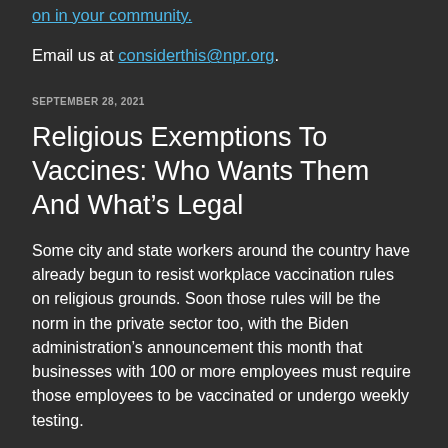segment that will help you make sense of what's going on in your community.
Email us at considerthis@npr.org.
SEPTEMBER 28, 2021
Religious Exemptions To Vaccines: Who Wants Them And What’s Legal
Some city and state workers around the country have already begun to resist workplace vaccination rules on religious grounds. Soon those rules will be the norm in the private sector too, with the Biden administration’s announcement this month that businesses with 100 or more employees must require those employees to be vaccinated or undergo weekly testing.